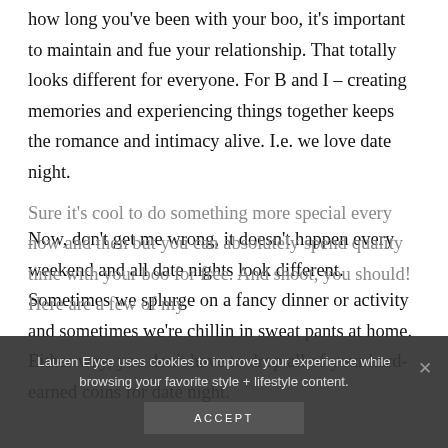how long you've been with your boo, it's important to maintain and fue your relationship. That totally looks different for everyone. For B and I – creating memories and experiencing things together keeps the romance and intimacy alive. I.e. we love date night.
Now, don't get me wrong, it doesn't happen every weekend and all date nights look different. Sometimes we splurge on a fancy dinner or activity and sometimes we're chillin in sweat pants at home. Either way, you don't have to drop all of your hard-earned coins for date night.
Sure it's cool to do something more special every now and then but you can absolutely spend quality time with your boo for free. And shoot, you should! Here are a few of my
Lauren Elyce uses cookies to improve your experience while browsing your favorite style + lifestyle content.
ACCEPT